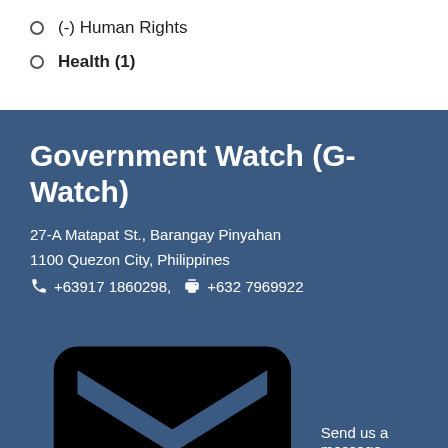(-) Human Rights
Health (1)
Government Watch (G-Watch)
27-A Matapat St., Barangay Pinyahan
1100 Quezon City, Philippines
+63917 1860298,  +632 7969922
Send us a message
© 2019 G-watch.org. All Rights Reserved.
Browse our sitemap.
Links
Accountability Research Center (ARC)